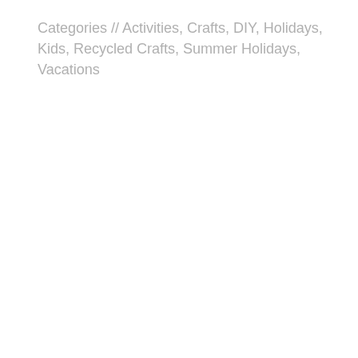Categories // Activities, Crafts, DIY, Holidays, Kids, Recycled Crafts, Summer Holidays, Vacations